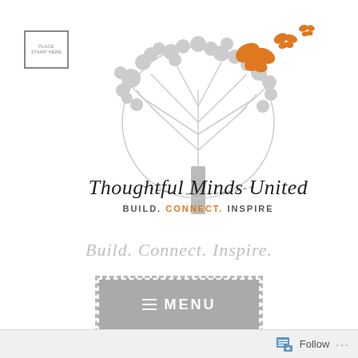[Figure (logo): Thoughtful Minds United logo with a stylized grey tree, orange butterflies, and text reading 'Thoughtful Minds United' with tagline 'BUILD. CONNECT. INSPIRE' where CONNECT is in orange.]
Build. Connect. Inspire.
≡ MENU
ALL POSTS · BLOGGING · WRITER WEDNESDAY
Follow ...